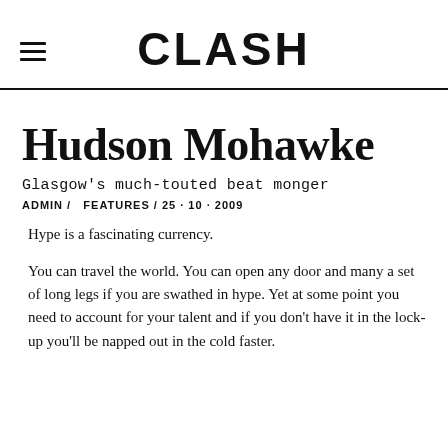CLASH
Hudson Mohawke
Glasgow's much-touted beat monger
ADMIN / FEATURES / 25 · 10 · 2009
Hype is a fascinating currency.
You can travel the world. You can open any door and many a set of long legs if you are swathed in hype. Yet at some point you need to account for your talent and if you don't have it in the lock-up you'll be napped out in the cold faster.